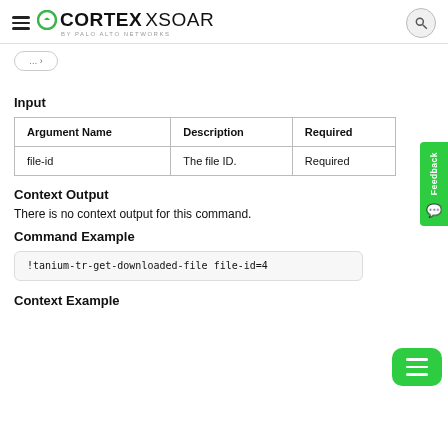CORTEX XSOAR by Palo Alto Networks
Input
| Argument Name | Description | Required |
| --- | --- | --- |
| file-id | The file ID. | Required |
Context Output
There is no context output for this command.
Command Example
!tanium-tr-get-downloaded-file file-id=4
Context Example